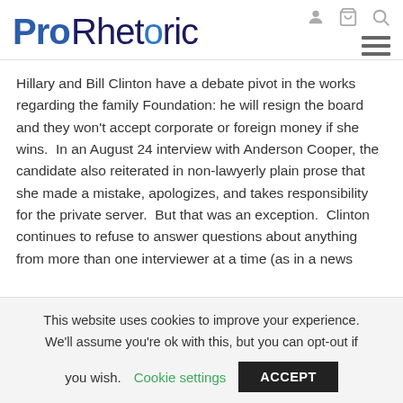Pro Rhetoric [nav icons: user, cart, search, hamburger menu]
Hillary and Bill Clinton have a debate pivot in the works regarding the family Foundation: he will resign the board and they won't accept corporate or foreign money if she wins.  In an August 24 interview with Anderson Cooper, the candidate also reiterated in non-lawyerly plain prose that she made a mistake, apologizes, and takes responsibility for the private server.  But that was an exception.  Clinton continues to refuse to answer questions about anything from more than one interviewer at a time (as in a news
This website uses cookies to improve your experience. We'll assume you're ok with this, but you can opt-out if you wish. Cookie settings  ACCEPT